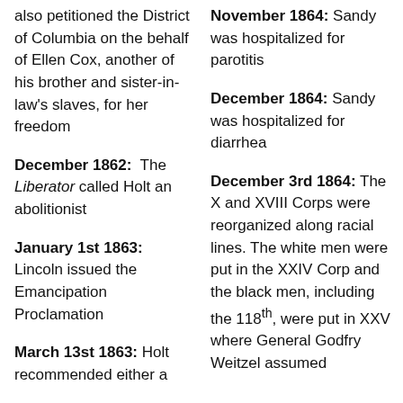also petitioned the District of Columbia on the behalf of Ellen Cox, another of his brother and sister-in-law's slaves, for her freedom
December 1862: The Liberator called Holt an abolitionist
January 1st 1863: Lincoln issued the Emancipation Proclamation
March 13st 1863: Holt recommended either a
November 1864: Sandy was hospitalized for parotitis
December 1864: Sandy was hospitalized for diarrhea
December 3rd 1864: The X and XVIII Corps were reorganized along racial lines. The white men were put in the XXIV Corp and the black men, including the 118th, were put in XXV where General Godfry Weitzel assumed